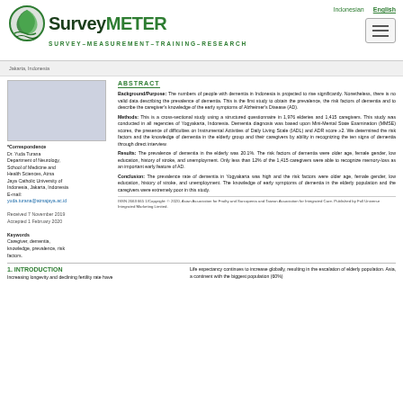[Figure (logo): SurveyMETER logo with circular green leaf icon and text Survey-Measurement-Training-Research]
Indonesian   English
Jakarta, Indonesia
[Figure (photo): Gray placeholder photo box for author photo]
*Correspondence
Dr. Yuda Turana
Department of Neurology, School of Medicine and Health Sciences, Atma Jaya Catholic University of Indonesia, Jakarta, Indonesia
E-mail: yuda.turana@atmajaya.ac.id
Received 7 November 2019
Accepted 1 February 2020
Keywords
Caregiver, dementia, knowledge, prevalence, risk factors.
ABSTRACT
Background/Purpose: The numbers of people with dementia in Indonesia is projected to rise significantly. Nonetheless, there is no valid data describing the prevalence of dementia. This is the first study to obtain the prevalence, the risk factors of dementia and to describe the caregiver's knowledge of the early symptoms of Alzheimer's Disease (AD).
Methods: This is a cross-sectional study using a structured questionnaire in 1,976 elderies and 1,415 caregivers. This study was conducted in all regencies of Yogyakarta, Indonesia. Dementia diagnosis was based upon Mini-Mental State Examination (MMSE) scores, the presence of difficulties on Instrumental Activities of Daily Living Scale (IADL) and ADR score ≥2. We determined the risk factors and the knowledge of dementia in the elderly group and their caregivers by ability in recognizing the ten signs of dementia through direct interview.
Results: The prevalence of dementia in the elderly was 20.1%. The risk factors of dementia were older age, female gender, low education, history of stroke, and unemployment. Only less than 12% of the 1,415 caregivers were able to recognize memory-loss as an important early feature of AD.
Conclusion: The prevalence rate of dementia in Yogyakarta was high and the risk factors were older age, female gender, low education, history of stroke, and unemployment. The knowledge of early symptoms of dementia in the elderly population and the caregivers were extremely poor in this study.
ISSN 2663 665 1/Copyright: © 2020, Asian Association for Frailty and Sarcopenia and Taiwan Association for Integrated Care. Published by Full Universe Integrated Marketing Limited.
1. INTRODUCTION
Increasing longevity and declining fertility rate have
Life expectancy continues to increase globally, resulting in the escalation of elderly population. Asia, a continent with the biggest population (60%)